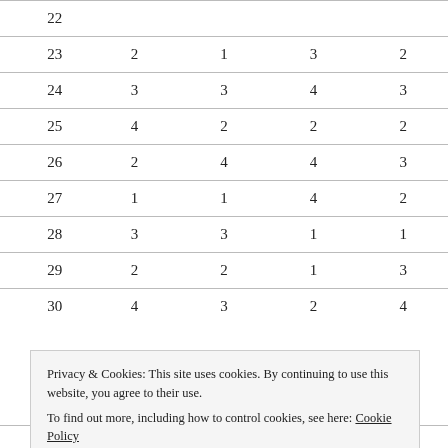|  |  |  |  |  |
| --- | --- | --- | --- | --- |
| 22 |  |  |  |  |
| 23 | 2 | 1 | 3 | 2 |
| 24 | 3 | 3 | 4 | 3 |
| 25 | 4 | 2 | 2 | 2 |
| 26 | 2 | 4 | 4 | 3 |
| 27 | 1 | 1 | 4 | 2 |
| 28 | 3 | 3 | 1 | 1 |
| 29 | 2 | 2 | 1 | 3 |
| 30 | 4 | 3 | 2 | 4 |
| 34 | 1 | 4 | 3 | 3 |
Privacy & Cookies: This site uses cookies. By continuing to use this website, you agree to their use.
To find out more, including how to control cookies, see here: Cookie Policy